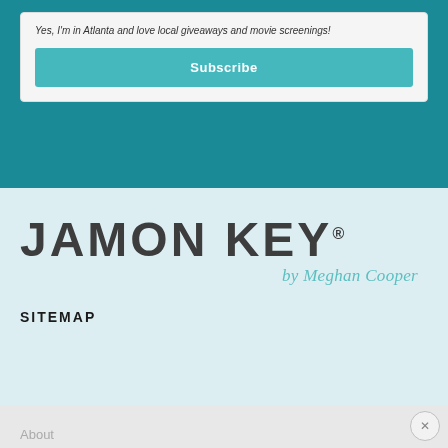Yes, I'm in Atlanta and love local giveaways and movie screenings!
Subscribe
[Figure (logo): JAMONKEY logo in bold dark gray letters with registered trademark symbol, followed by cursive script 'by Meghan Cooper' in teal]
SITEMAP
About